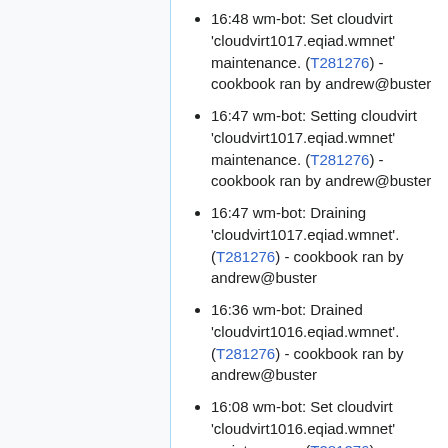16:48 wm-bot: Set cloudvirt 'cloudvirt1017.eqiad.wmnet' maintenance. (T281276) - cookbook ran by andrew@buster
16:47 wm-bot: Setting cloudvirt 'cloudvirt1017.eqiad.wmnet' maintenance. (T281276) - cookbook ran by andrew@buster
16:47 wm-bot: Draining 'cloudvirt1017.eqiad.wmnet'. (T281276) - cookbook ran by andrew@buster
16:36 wm-bot: Drained 'cloudvirt1016.eqiad.wmnet'. (T281276) - cookbook ran by andrew@buster
16:08 wm-bot: Set cloudvirt 'cloudvirt1016.eqiad.wmnet' maintenance. (T281276) - cookbook ran by andrew@buster